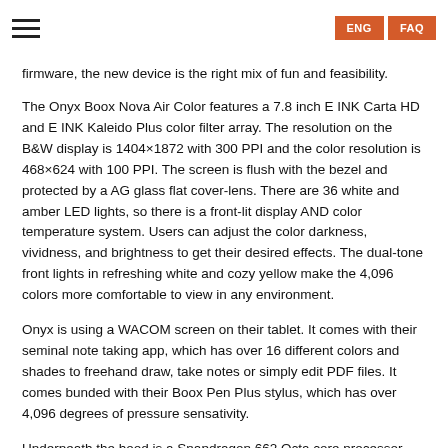ENG | FAQ
firmware, the new device is the right mix of fun and feasibility.
The Onyx Boox Nova Air Color features a 7.8 inch E INK Carta HD and E INK Kaleido Plus color filter array. The resolution on the B&W display is 1404×1872 with 300 PPI and the color resolution is 468×624 with 100 PPI. The screen is flush with the bezel and protected by a AG glass flat cover-lens. There are 36 white and amber LED lights, so there is a front-lit display AND color temperature system. Users can adjust the color darkness, vividness, and brightness to get their desired effects. The dual-tone front lights in refreshing white and cozy yellow make the 4,096 colors more comfortable to view in any environment.
Onyx is using a WACOM screen on their tablet. It comes with their seminal note taking app, which has over 16 different colors and shades to freehand draw, take notes or simply edit PDF files. It comes bunded with their Boox Pen Plus stylus, which has over 4,096 degrees of pressure sensativity.
Underneath the hood is a Snapdragon 662 Octa core processor, 3GB of RAM and 32GB of internal storage. You can connect up to